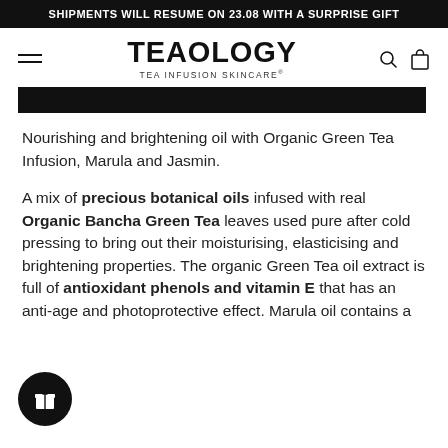SHIPMENTS WILL RESUME ON 23.08 WITH A SURPRISE GIFT
TEAOLOGY TEA INFUSION SKINCARE®
[Figure (photo): Black image bar / product image cropped]
Nourishing and brightening oil with Organic Green Tea Infusion, Marula and Jasmin.
A mix of precious botanical oils infused with real Organic Bancha Green Tea leaves used pure after cold pressing to bring out their moisturising, elasticising and brightening properties. The organic Green Tea oil extract is full of antioxidant phenols and vitamin E that has an anti-age and photoprotective effect. Marula oil contains a
[Figure (illustration): Black circular gift/reward button with gift box icon]